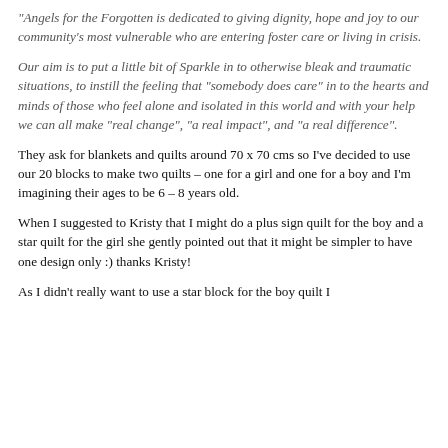"Angels for the Forgotten is dedicated to giving dignity, hope and joy to our community’s most vulnerable who are entering foster care or living in crisis.
Our aim is to put a little bit of Sparkle in to otherwise bleak and traumatic situations, to instill the feeling that "somebody does care" in to the hearts and minds of those who feel alone and isolated in this world and with your help we can all make "real change", "a real impact", and "a real difference".
They ask for blankets and quilts around 70 x 70 cms so I’ve decided to use our 20 blocks to make two quilts – one for a girl and one for a boy and I’m imagining their ages to be 6 – 8 years old.
When I suggested to Kristy that I might do a plus sign quilt for the boy and a star quilt for the girl she gently pointed out that it might be simpler to have one design only :) thanks Kristy!
As I didn’t really want to use a star block for the boy quilt I